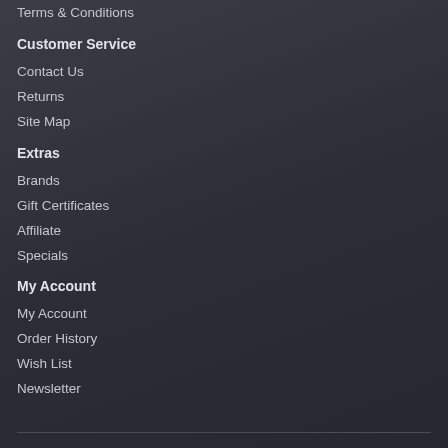Terms & Conditions
Customer Service
Contact Us
Returns
Site Map
Extras
Brands
Gift Certificates
Affiliate
Specials
My Account
My Account
Order History
Wish List
Newsletter
Powered By OpenCart
crypto.fashion © 2022